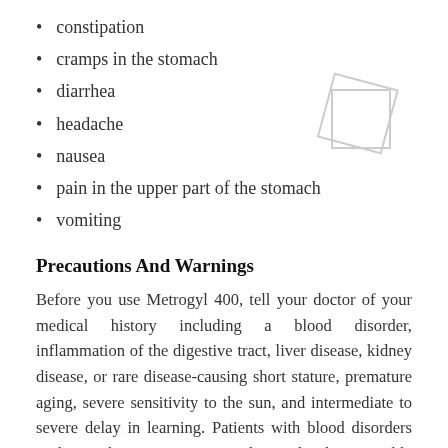constipation
cramps in the stomach
diarrhea
headache
nausea
pain in the upper part of the stomach
vomiting
[Figure (illustration): Placeholder graphic showing two overlapping rotated squares/diamonds outline]
Precautions And Warnings
Before you use Metrogyl 400, tell your doctor of your medical history including a blood disorder, inflammation of the digestive tract, liver disease, kidney disease, or rare disease-causing short stature, premature aging, severe sensitivity to the sun, and intermediate to severe delay in learning. Patients with blood disorders such as dyscrasia are at risk to develop possible hazardous conditions like...